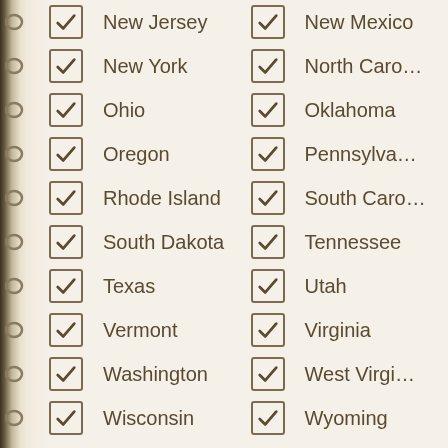✓ New Jersey
✓ New Mexico
✓ New York
✓ North Carolina
✓ Ohio
✓ Oklahoma
✓ Oregon
✓ Pennsylvania
✓ Rhode Island
✓ South Carolina
✓ South Dakota
✓ Tennessee
✓ Texas
✓ Utah
✓ Vermont
✓ Virginia
✓ Washington
✓ West Virginia
✓ Wisconsin
✓ Wyoming